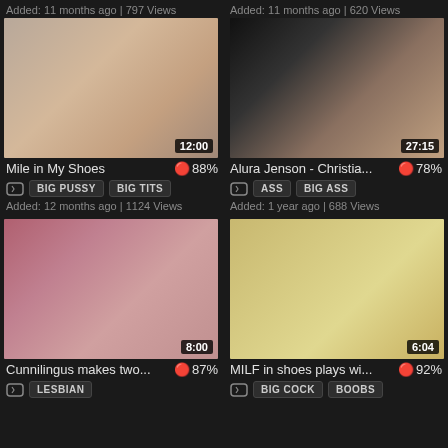Added: 11 months ago | 797 Views
Added: 11 months ago | 620 Views
[Figure (photo): Video thumbnail 12:00 - Mile in My Shoes]
[Figure (photo): Video thumbnail 27:15 - Alura Jenson - Christia...]
Mile in My Shoes  88%
Alura Jenson - Christia...  78%
BIG PUSSY  BIG TITS
ASS  BIG ASS
Added: 12 months ago | 1124 Views
Added: 1 year ago | 688 Views
[Figure (photo): Video thumbnail 8:00 - Cunnilingus makes two...]
[Figure (photo): Video thumbnail 6:04 - MILF in shoes plays wi...]
Cunnilingus makes two...  87%
MILF in shoes plays wi...  92%
LESBIAN
BIG COCK  BOOBS